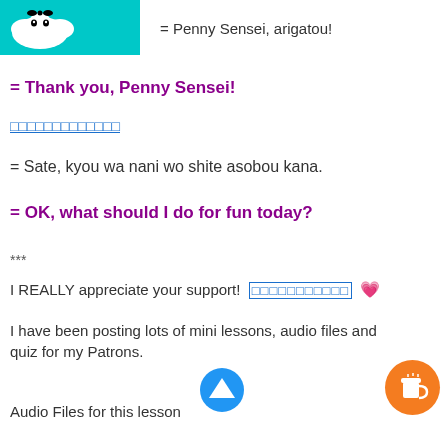[Figure (illustration): Cartoon character image with teal/cyan background at top left]
= Penny Sensei, arigatou!
= Thank you, Penny Sensei!
□□□□□□□□□□□□□ (Japanese text link)
= Sate, kyou wa nani wo shite asobou kana.
= OK,  what should I do for fun today?
***
I REALLY appreciate your support! □□□□□□□□□□□ 💗
I have been posting lots of mini lessons, audio files and quiz for my Patrons.
Audio Files for this lesson